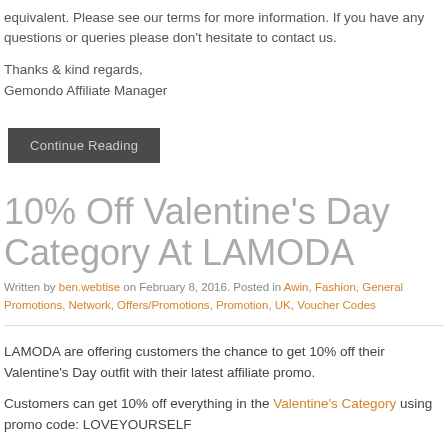equivalent. Please see our terms for more information. If you have any questions or queries please don't hesitate to contact us.
Thanks & kind regards,
Gemondo Affiliate Manager
Continue Reading
10% Off Valentine's Day Category At LAMODA
Written by ben.webtise on February 8, 2016. Posted in Awin, Fashion, General Promotions, Network, Offers/Promotions, Promotion, UK, Voucher Codes
LAMODA are offering customers the chance to get 10% off their Valentine's Day outfit with their latest affiliate promo.
Customers can get 10% off everything in the Valentine's Category using promo code: LOVEYOURSELF
The offer goes live on Tuesday 9th February at 9am and ends at midnight on